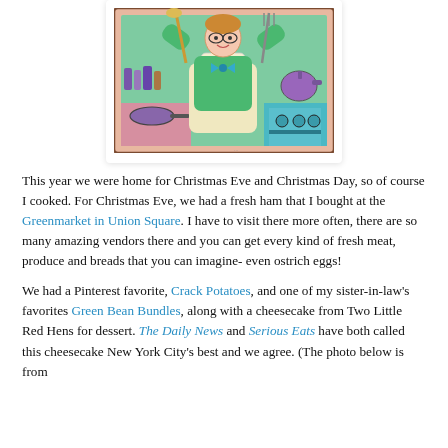[Figure (illustration): Cartoon illustration of a cook in a kitchen, wearing a green apron and glasses, raising arms with a spoon and fork, surrounded by kitchen items including pots, jars, a frying pan, and a stove. Colorful clip-art style with pink/peach border.]
This year we were home for Christmas Eve and Christmas Day, so of course I cooked. For Christmas Eve, we had a fresh ham that I bought at the Greenmarket in Union Square. I have to visit there more often, there are so many amazing vendors there and you can get every kind of fresh meat, produce and breads that you can imagine- even ostrich eggs!
We had a Pinterest favorite, Crack Potatoes, and one of my sister-in-law's favorites Green Bean Bundles, along with a cheesecake from Two Little Red Hens for dessert. The Daily News and Serious Eats have both called this cheesecake New York City's best and we agree. (The photo below is from